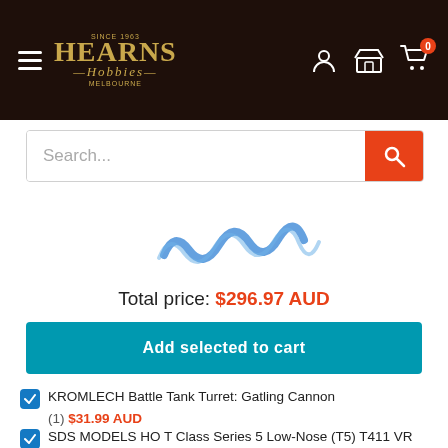Hearns Hobbies
[Figure (screenshot): Search bar with orange search button]
[Figure (photo): Blue coil spring product image, partially visible]
Total price: $296.97 AUD
Add selected to cart
KROMLECH Battle Tank Turret: Gatling Cannon (1) $31.99 AUD
SDS MODELS HO T Class Series 5 Low-Nose (T5) T411 VR Blu/G $244.98 AUD